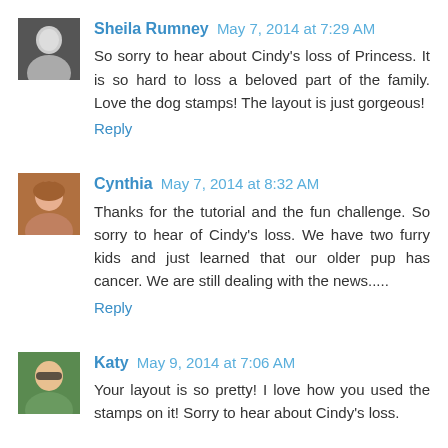[Figure (photo): Black and white avatar photo of Sheila Rumney]
Sheila Rumney May 7, 2014 at 7:29 AM
So sorry to hear about Cindy's loss of Princess. It is so hard to loss a beloved part of the family. Love the dog stamps! The layout is just gorgeous!
Reply
[Figure (photo): Color avatar photo of Cynthia]
Cynthia May 7, 2014 at 8:32 AM
Thanks for the tutorial and the fun challenge. So sorry to hear of Cindy's loss. We have two furry kids and just learned that our older pup has cancer. We are still dealing with the news.....
Reply
[Figure (photo): Color avatar photo of Katy with sunglasses]
Katy May 9, 2014 at 7:06 AM
Your layout is so pretty! I love how you used the stamps on it! Sorry to hear about Cindy's loss.